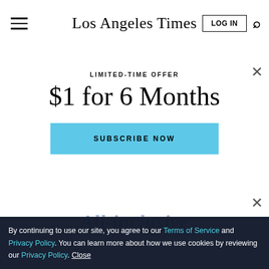Los Angeles Times
[Figure (screenshot): Black background hero image with 'WE ARE' text in large purple and salmon/coral letters]
LIMITED-TIME OFFER
$1 for 6 Months
SUBSCRIBE NOW
By continuing to use our site, you agree to our Terms of Service and Privacy Policy. You can learn more about how we use cookies by reviewing our Privacy Policy. Close